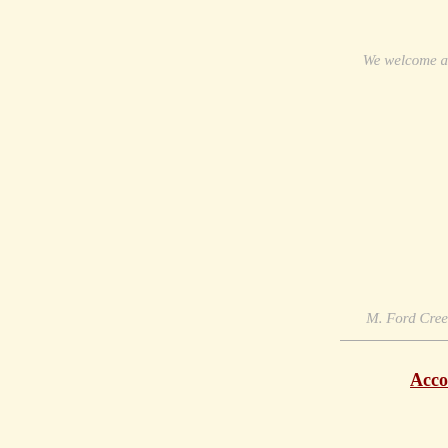We welcome a
M. Ford Cree
Acco